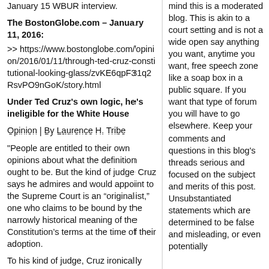January 15 WBUR interview.
The BostonGlobe.com – January 11, 2016:
>> https://www.bostonglobe.com/opinion/2016/01/11/through-ted-cruz-constitutional-looking-glass/zvKE6qpF31q2RsvPO9nGoK/story.html
Under Ted Cruz's own logic, he's ineligible for the White House
Opinion | By Laurence H. Tribe
"People are entitled to their own opinions about what the definition ought to be. But the kind of judge Cruz says he admires and would appoint to the Supreme Court is an “originalist,” one who claims to be bound by the narrowly historical meaning of the Constitution’s terms at the time of their adoption.
To his kind of judge, Cruz ironically
mind this is a moderated blog. This is akin to a court setting and is not a wide open say anything you want, anytime you want, free speech zone like a soap box in a public square. If you want that type of forum you will have to go elsewhere. Keep your comments and questions in this blog's threads serious and focused on the subject and merits of this post. Unsubstantiated statements which are determined to be false and misleading, or even potentially